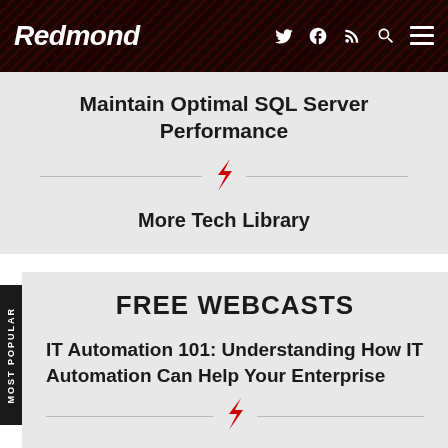Redmond
Maintain Optimal SQL Server Performance
More Tech Library
FREE WEBCASTS
IT Automation 101: Understanding How IT Automation Can Help Your Enterprise
Hacking the Hacker: Assessing and